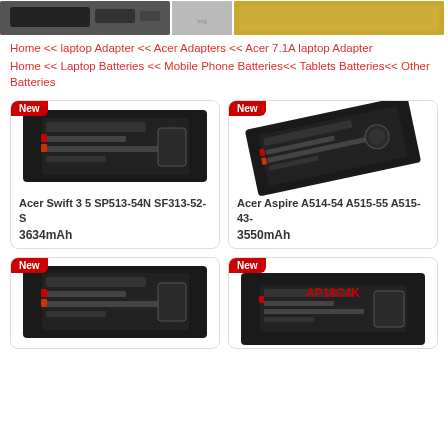[Figure (photo): Top banner with product images: laptop adapter/connector parts on left, small product image center, golden/yellow product image on right]
Home << laptop Adapter << Acer Adapters << Acer 7.1A laptop Adapter
Home << Laptop Batteries << Mobile Phone Batteries<< Tablets Batteries<< Other Batteries
[Figure (photo): Laptop battery product image with 'New' badge - Acer Swift 3 5 SP513-54N SF313-52-S, black rectangular battery]
Acer Swift 3 5 SP513-54N SF313-52- S
3634mAh
[Figure (photo): Laptop battery product image with 'New' badge - Acer Aspire A514-54 A515-55 A515-43-, black battery tilted]
Acer Aspire A514-54 A515-55 A515-43-
3550mAh
[Figure (photo): Laptop battery product image with 'New' badge - black rectangular battery]
[Figure (photo): Laptop battery product image with 'New' badge and 'AP18C4K' label in red text]